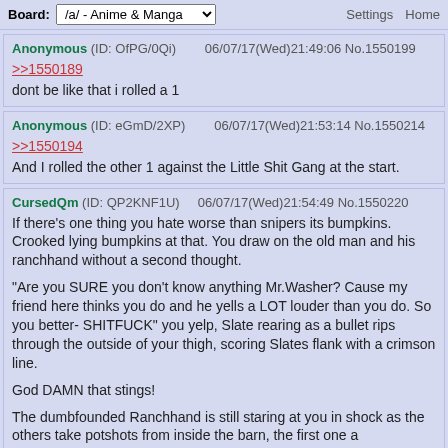Board: /a/ - Anime & Manga  Settings  Home
Anonymous (ID: OfPG/0Qi) 06/07/17(Wed)21:49:06 No.1550199
>>1550189
dont be like that i rolled a 1
Anonymous (ID: eGmD/2XP) 06/07/17(Wed)21:53:14 No.1550214
>>1550194
And I rolled the other 1 against the Little Shit Gang at the start.
CursedQm (ID: QP2KNF1U) 06/07/17(Wed)21:54:49 No.1550220
If there's one thing you hate worse than snipers its bumpkins. Crooked lying bumpkins at that. You draw on the old man and his ranchhand without a second thought.

"Are you SURE you don't know anything Mr.Washer? Cause my friend here thinks you do and he yells a LOT louder than you do. So you better- SHITFUCK" you yelp, Slate rearing as a bullet rips through the outside of your thigh, scoring Slates flank with a crimson line.

God DAMN that stings!

The dumbfounded Ranchhand is still staring at you in shock as the others take potshots from inside the barn, the first one a